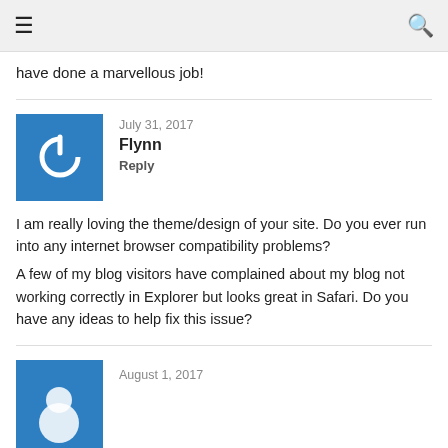☰  🔍
have done a marvellous job!
July 31, 2017
Flynn
Reply
I am really loving the theme/design of your site. Do you ever run into any internet browser compatibility problems?
A few of my blog visitors have complained about my blog not working correctly in Explorer but looks great in Safari. Do you have any ideas to help fix this issue?
August 1, 2017